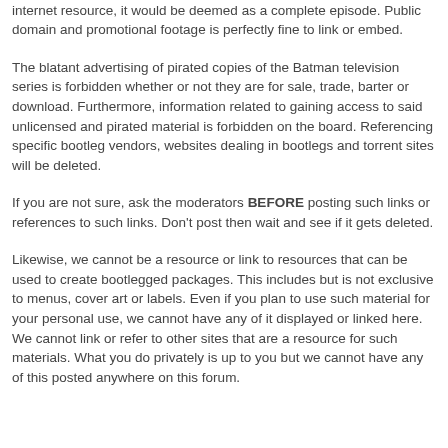commentary of journalistic fashion can be linked or shown but not an actual episode or link that is the equivalent of broadcast in length and order of chapters. Even if the episode is broken into parts on said internet resource, it would be deemed as a complete episode. Public domain and promotional footage is perfectly fine to link or embed.
The blatant advertising of pirated copies of the Batman television series is forbidden whether or not they are for sale, trade, barter or download. Furthermore, information related to gaining access to said unlicensed and pirated material is forbidden on the board. Referencing specific bootleg vendors, websites dealing in bootlegs and torrent sites will be deleted.
If you are not sure, ask the moderators BEFORE posting such links or references to such links. Don't post then wait and see if it gets deleted.
Likewise, we cannot be a resource or link to resources that can be used to create bootlegged packages. This includes but is not exclusive to menus, cover art or labels. Even if you plan to use such material for your personal use, we cannot have any of it displayed or linked here. We cannot link or refer to other sites that are a resource for such materials. What you do privately is up to you but we cannot have any of this posted anywhere on this forum.